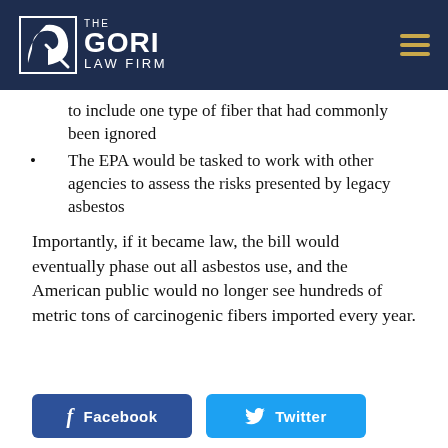The Gori Law Firm
to include one type of fiber that had commonly been ignored
The EPA would be tasked to work with other agencies to assess the risks presented by legacy asbestos
Importantly, if it became law, the bill would eventually phase out all asbestos use, and the American public would no longer see hundreds of metric tons of carcinogenic fibers imported every year.